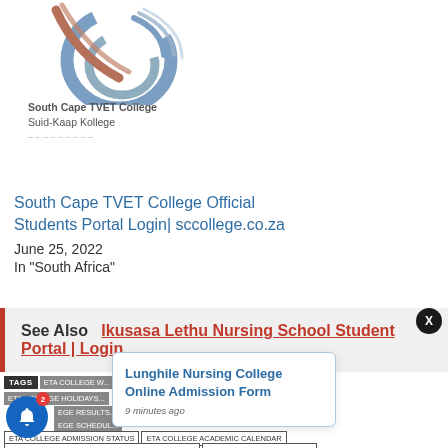[Figure (logo): South Cape TVET College logo — abstract circular design with curved lines in blue and brown/red tones]
South Cape TVET College
Suid-Kaap Kollege
(partially obscured text)
South Cape TVET College Official Students Portal Login| sccollege.co.za
June 25, 2022
In "South Africa"
See Also  Ikusasa Lethu Nursing School Student Portal | Login
TAGS  ETA COLLEGE ...  ETA COLLEGE HOLIDAYS...  ETA COLLEGE RESULTS...  ETA COLLEGE SCHEDUL...  ETA COLLEGE ADMISSION STATUS  ETA COLLEGE ACADEMIC CALENDAR  ETA COLLEGE OFFICIAL STUDENTS PORTAL LOGIN  ETA COLLEGE PROSPECTUS
[Figure (screenshot): Popup notification card: Lunghile Nursing College Online Admission Form, 9 minutes ago]
[Figure (other): Blue notification bell icon with red badge showing 2, and X close button]